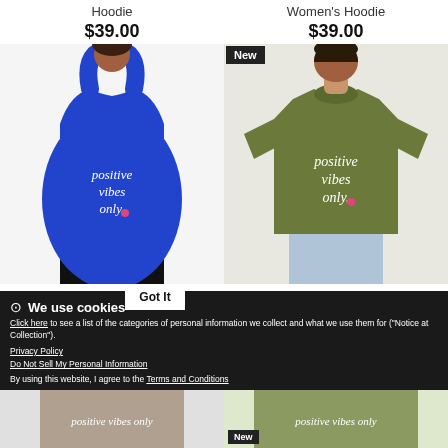Hoodie
$39.00
Women's Hoodie
$39.00
[Figure (photo): Woman wearing a blue racerback tank top with 'positive vibes only' script text and a small pink heart]
[Figure (photo): Man wearing an olive/army green t-shirt with 'positive vibes only' script text, labeled New]
POSITIVE VIBES ONLY - Women's Flowy Tank Top by Bella
$29.00
POSITIVE VIBES ONLY - Tri-Blend Cotton/Poly T-Shirt by Next Level
$27.50
We use cookies
Click here to see a list of the categories of personal information we collect and what we use them for ("Notice at Collection").
Privacy Policy
Do Not Sell My Personal Information
By using this website, I agree to the Terms and Conditions